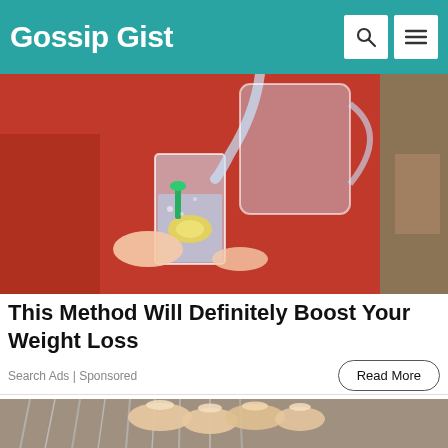Gossip Gist
[Figure (photo): Person in red outfit pouring water with lemon into a glass]
This Method Will Definitely Boost Your Weight Loss
Search Ads | Sponsored
Read More
[Figure (photo): Close-up of hands touching a person's grey hair scalp]